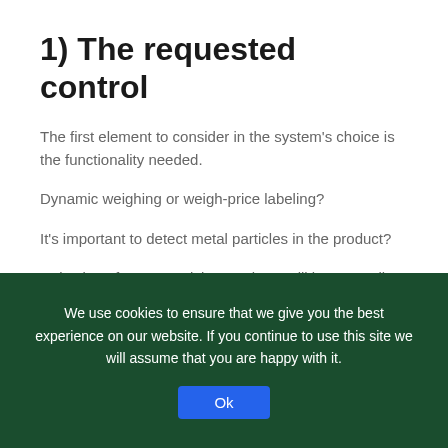1) The requested control
The first element to consider in the system's choice is the functionality needed.
Dynamic weighing or weigh-price labeling?
It's important to detect metal particles in the product?
Rejection of non-complying products will be manually operated or it has to be automatically performed? What is the discard reuse level?
Do you desire that packages are sorted and classified basing on measured weight?
We use cookies to ensure that we give you the best experience on our website. If you continue to use this site we will assume that you are happy with it.